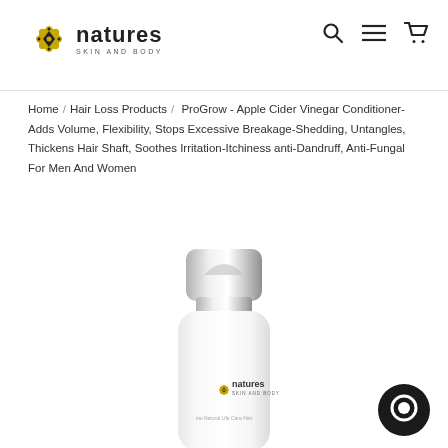[Figure (logo): Natures Skin and Body logo with decorative flower icon]
[Figure (other): Navigation icons: search (magnifying glass), hamburger menu, and shopping cart]
Home / Hair Loss Products / ProGrow - Apple Cider Vinegar Conditioner-Adds Volume, Flexibility, Stops Excessive Breakage-Shedding, Untangles, Thickens Hair Shaft, Soothes Irritation-Itchiness anti-Dandruff, Anti-Fungal For Men And Women
[Figure (photo): White conditioner bottle with silver chrome cap featuring the Natures Skin and Body logo, partially visible at bottom of page]